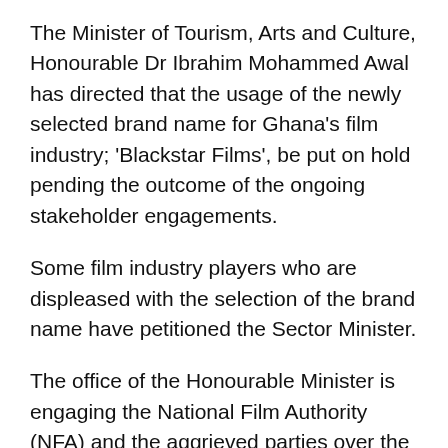The Minister of Tourism, Arts and Culture, Honourable Dr Ibrahim Mohammed Awal has directed that the usage of the newly selected brand name for Ghana's film industry; 'Blackstar Films', be put on hold pending the outcome of the ongoing stakeholder engagements.
Some film industry players who are displeased with the selection of the brand name have petitioned the Sector Minister.
The office of the Honourable Minister is engaging the National Film Authority (NFA) and the aggrieved parties over the matter.
As we await the outcome of the stakeholder engagements, it is hereby directed that the brand name be put on hold with immediate effect. The Ministry of Tourism, Arts and Culture led by the able Honourable